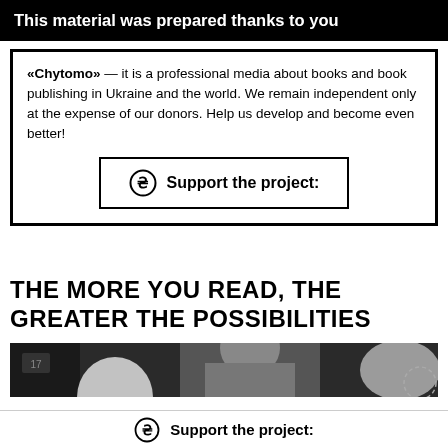This material was prepared thanks to you
«Chytomo» — it is a professional media about books and book publishing in Ukraine and the world. We remain independent only at the expense of our donors. Help us develop and become even better!
Support the project:
THE MORE YOU READ, THE GREATER THE POSSIBILITIES
[Figure (photo): Partial photo of a person, appears to be a black and white or greyscale image]
Support the project: